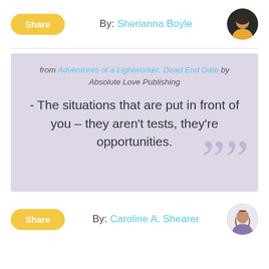Share   By: Sherianna Boyle
from Adventures of a Lightworker: Dead End Date by Absolute Love Publishing

- The situations that are put in front of you – they aren't tests, they're opportunities.
Share   By: Caroline A. Shearer